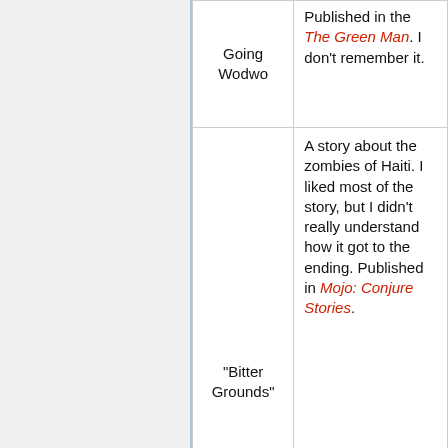| Story | Notes |
| --- | --- |
| Going Wodwo | Published in the The Green Man. I don't remember it. |
| "Bitter Grounds" | A story about the zombies of Haiti. I liked most of the story, but I didn't really understand how it got to the ending. Published in Mojo: Conjure Stories. |
| "Other People" | Originally titled "Afterlife." A short about being tortured in hell. |
|  | Exists in the introduction. Meant to be in American Gods |